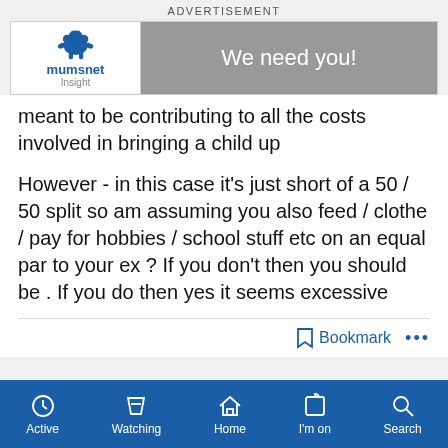[Figure (screenshot): Advertisement banner with Mumsnet Insight logo on left and 'We need you!' text on grey background on right]
meant to be contributing to all the costs involved in bringing a child up
However - in this case it's just short of a 50 / 50 split so am assuming you also feed / clothe / pay for hobbies / school stuff etc on an equal par to your ex ? If you don't then you should be . If you do then yes it seems excessive
Bookmark ...
ADVERTISEMENT
Active  Watching  Home  I'm on  Search